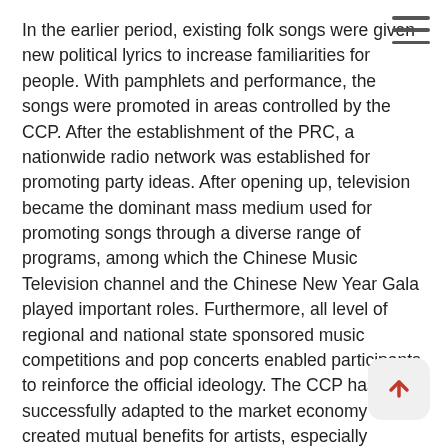In the earlier period, existing folk songs were given new political lyrics to increase familiarities for people. With pamphlets and performance, the songs were promoted in areas controlled by the CCP. After the establishment of the PRC, a nationwide radio network was established for promoting party ideas. After opening up, television became the dominant mass medium used for promoting songs through a diverse range of programs, among which the Chinese Music Television channel and the Chinese New Year Gala played important roles. Furthermore, all level of regional and national state sponsored music competitions and pop concerts enabled participants to reinforce the official ideology. The CCP has successfully adapted to the market economy and created mutual benefits for artists, especially famous singers, and has thereby enabled the official ideology to reach millions of people.

Finally, based on my personal experience, I assume that